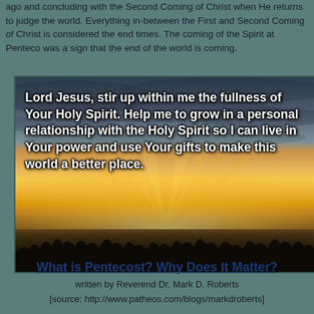ago and concluding with the Second Coming of Christ when He returns to judge the world. Everything in-between the First and Second Coming of Christ is considered the end times. The coming of the Spirit at Pentecost was a sign that the end of the world is coming.
[Figure (photo): Sunset landscape photo with dramatic orange and golden sky, dark cloud streaks, silhouetted treeline at bottom. Overlaid bold white text reading: 'Lord Jesus, stir up within me the fullness of Your Holy Spirit. Help me to grow in a personal relationship with the Holy Spirit so I can live in Your power and use Your gifts to make this world a better place.']
What is Pentecost? Why Does It Matter?
written by Reverend Dr. Mark D. Roberts
[source: http://www.patheos.com/blogs/markdroberts]